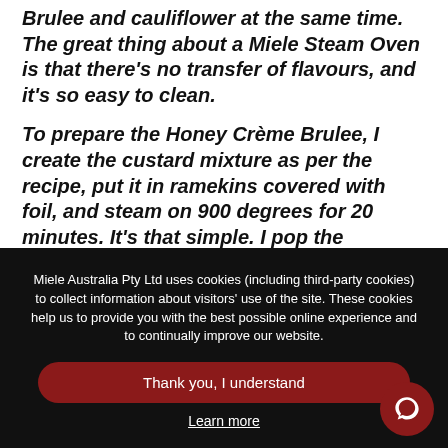Brulee and cauliflower at the same time. The great thing about a Miele Steam Oven is that there's no transfer of flavours, and it's so easy to clean.
To prepare the Honey Crème Brulee, I create the custard mixture as per the recipe, put it in ramekins covered with foil, and steam on 900 degrees for 20 minutes. It's that simple. I pop the ramekins in the fridge for tomorrow
Miele Australia Pty Ltd uses cookies (including third-party cookies) to collect information about visitors' use of the site. These cookies help us to provide you with the best possible online experience and to continually improve our website.
Thank you, I understand
Learn more